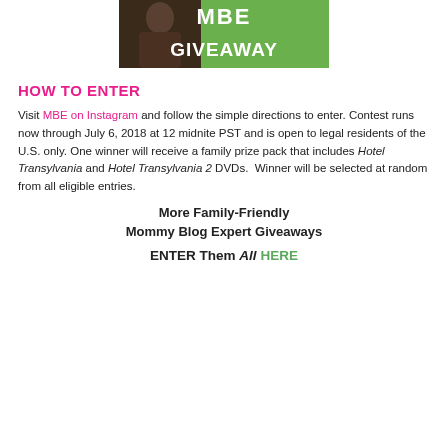[Figure (photo): MBE Giveaway banner image with green background and large white text reading MBE GIVEAWAY]
HOW TO ENTER
Visit MBE on Instagram and follow the simple directions to enter. Contest runs now through July 6, 2018 at 12 midnite PST and is open to legal residents of the U.S. only. One winner will receive a family prize pack that includes Hotel Transylvania and Hotel Transylvania 2 DVDs. Winner will be selected at random from all eligible entries.
More Family-Friendly Mommy Blog Expert Giveaways
ENTER Them All HERE